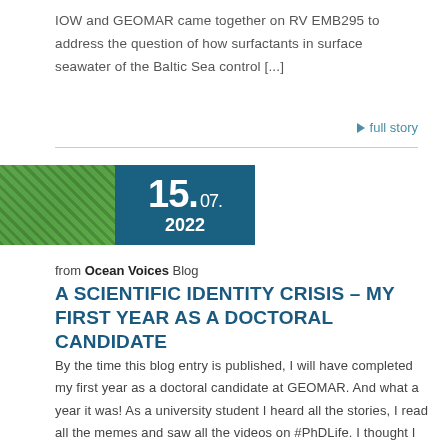IOW and GEOMAR came together on RV EMB295 to address the question of how surfactants in surface seawater of the Baltic Sea control [...]
▶ full story
[Figure (photo): Green plant/algae background image partially behind date box]
15.07. 2022
from Ocean Voices Blog
A SCIENTIFIC IDENTITY CRISIS – MY FIRST YEAR AS A DOCTORAL CANDIDATE
By the time this blog entry is published, I will have completed my first year as a doctoral candidate at GEOMAR. And what a year it was! As a university student I heard all the stories, I read all the memes and saw all the videos on #PhDLife. I thought I knew what I was [...]